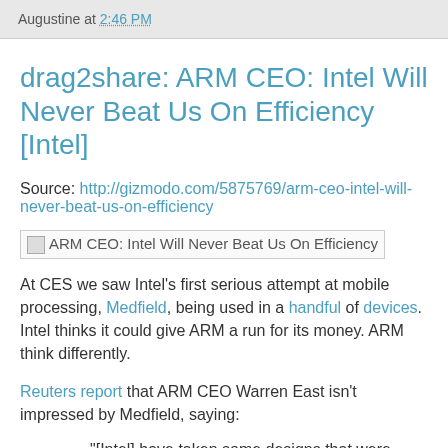Augustine at 2:46 PM
drag2share: ARM CEO: Intel Will Never Beat Us On Efficiency [Intel]
Source: http://gizmodo.com/5875769/arm-ceo-intel-will-never-beat-us-on-efficiency
[Figure (photo): Broken image placeholder with alt text: ARM CEO: Intel Will Never Beat Us On Efficiency]
At CES we saw Intel's first serious attempt at mobile processing, Medfield, being used in a handful of devices. Intel thinks it could give ARM a run for its money. ARM think differently.
Reuters report that ARM CEO Warren East isn't impressed by Medfield, saying:
"[Intel] have taken some designs that were never meant for mobile phones and they've literally wrenched those designs and put them into a power-performance space which is roughly good